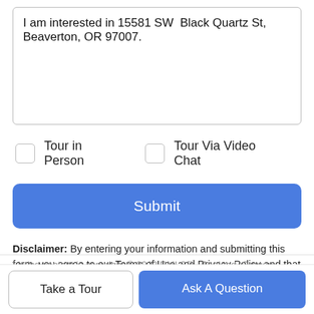I am interested in 15581 SW  Black Quartz St, Beaverton, OR 97007.
Tour in Person
Tour Via Video Chat
Submit
Disclaimer: By entering your information and submitting this form, you agree to our Terms of Use and Privacy Policy and that you may be contacted by phone, text message and email about your inquiry.
Listing content is copyright © 2022 RMLS™, Portland, Oregon
Take a Tour
Ask A Question